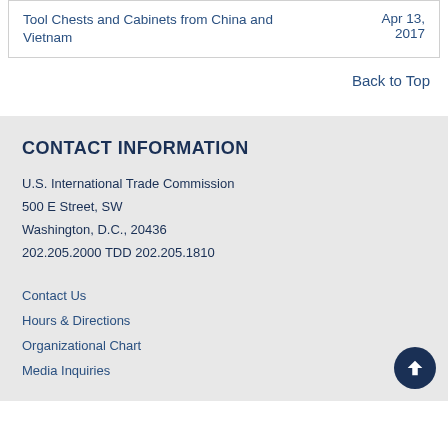| Title | Date |
| --- | --- |
| Tool Chests and Cabinets from China and Vietnam | Apr 13, 2017 |
Back to Top
CONTACT INFORMATION
U.S. International Trade Commission
500 E Street, SW
Washington, D.C., 20436
202.205.2000 TDD 202.205.1810
Contact Us
Hours & Directions
Organizational Chart
Media Inquiries